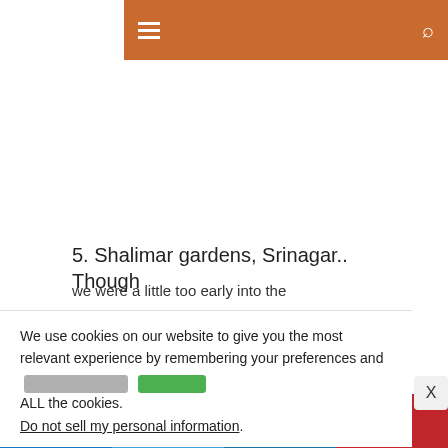Navigation bar with hamburger menu and search icon
5. Shalimar gardens, Srinagar.. Though
we were a little too early into the
We use cookies on our website to give you the most relevant experience by remembering your preferences and repeat visits. By clicking “Accept”, you consent to the use of ALL the cookies. Do not sell my personal information.
f  t  in  p (social share buttons)